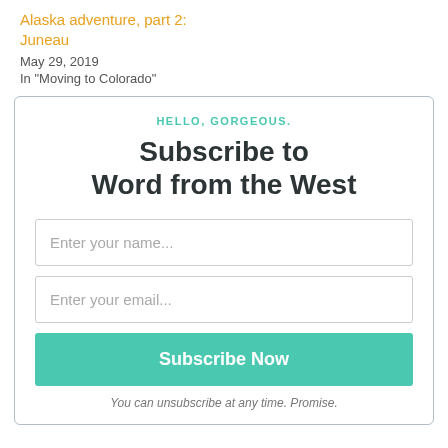Alaska adventure, part 2: Juneau
May 29, 2019
In "Moving to Colorado"
HELLO, GORGEOUS.
Subscribe to Word from the West
[Figure (other): Email subscription form with name input, email input, and Subscribe Now button]
You can unsubscribe at any time. Promise.